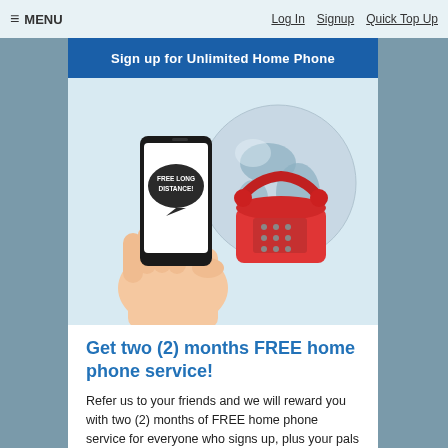≡ MENU    Log In    Signup    Quick Top Up
Sign up for Unlimited Home Phone
[Figure (photo): Photo of a hand holding a smartphone displaying a speech bubble with text 'FREE LONG DISTANCE!' alongside a red classic telephone and a globe in the background on a light blue background.]
Get two (2) months FREE home phone service!
Refer us to your friends and we will reward you with two (2) months of FREE home phone service for everyone who signs up, plus your pals will get a sweet bonus too.